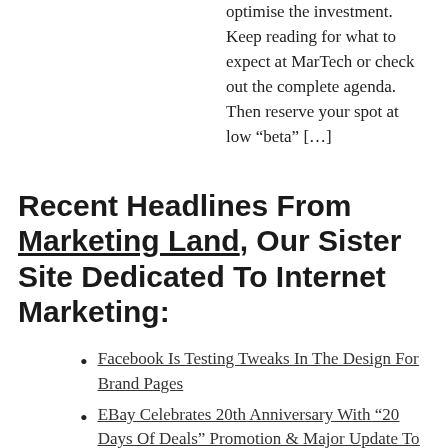optimise the investment. Keep reading for what to expect at MarTech or check out the complete agenda. Then reserve your spot at low “beta” […]
Recent Headlines From Marketing Land, Our Sister Site Dedicated To Internet Marketing:
Facebook Is Testing Tweaks In The Design For Brand Pages
EBay Celebrates 20th Anniversary With “20 Days Of Deals” Promotion & Major Update To Mobile Apps
YouTube Reportedly Prepping For Independent Viewability Measurement